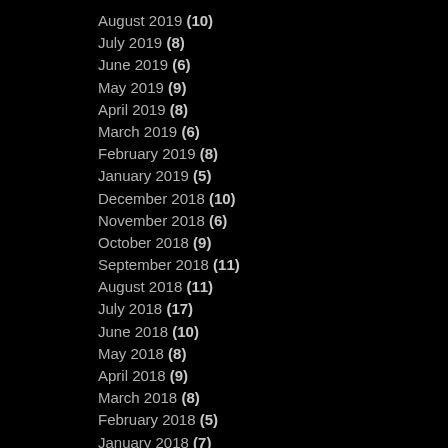August 2019 (10)
July 2019 (8)
June 2019 (6)
May 2019 (9)
April 2019 (8)
March 2019 (6)
February 2019 (8)
January 2019 (5)
December 2018 (10)
November 2018 (6)
October 2018 (9)
September 2018 (11)
August 2018 (11)
July 2018 (17)
June 2018 (10)
May 2018 (8)
April 2018 (9)
March 2018 (8)
February 2018 (5)
January 2018 (7)
December 2017 (11)
November 2017 (8)
October 2017 (9)
September 2017 (11)